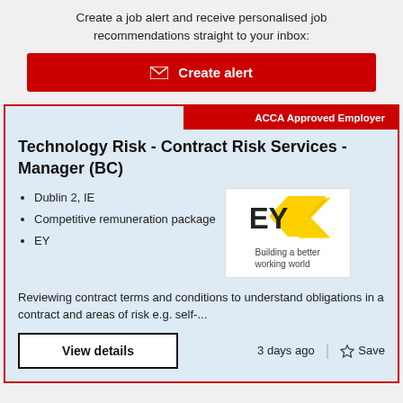Create a job alert and receive personalised job recommendations straight to your inbox:
Create alert
ACCA Approved Employer
Technology Risk - Contract Risk Services - Manager (BC)
Dublin 2, IE
Competitive remuneration package
EY
[Figure (logo): EY logo with yellow chevron and text 'Building a better working world']
Reviewing contract terms and conditions to understand obligations in a contract and areas of risk e.g. self-...
View details
3 days ago
Save